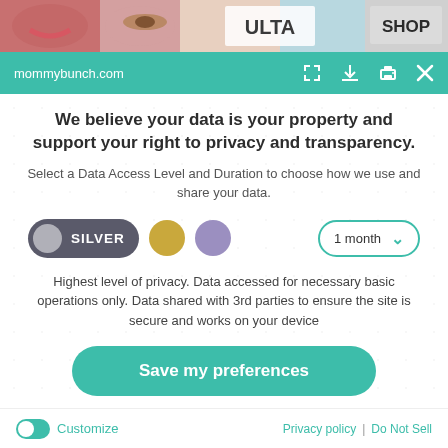[Figure (screenshot): Top strip showing partial website with cosmetics/beauty images and ULTA and SHOP text visible]
mommybunch.com
We believe your data is your property and support your right to privacy and transparency.
Select a Data Access Level and Duration to choose how we use and share your data.
[Figure (infographic): Data access level selector: SILVER toggle button selected, gold dot, purple dot, and 1 month dropdown]
Highest level of privacy. Data accessed for necessary basic operations only. Data shared with 3rd parties to ensure the site is secure and works on your device
Save my preferences
Customize
Privacy policy | Do Not Sell